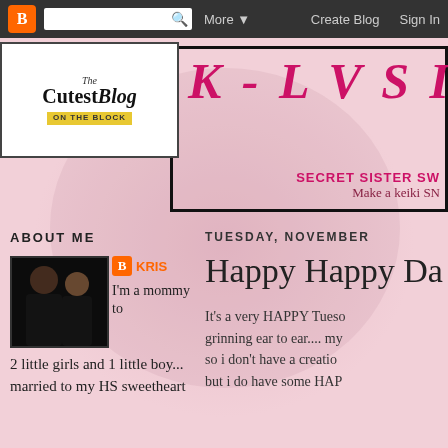Blogger navigation bar: logo, search, More, Create Blog, Sign In
[Figure (screenshot): The Cutest Blog On The Block logo with yellow banner]
K-LUSIVE
SECRET SISTER SW
Make a keiki SN
ABOUT ME
[Figure (photo): Profile photo of a couple, man and woman in dark clothing]
KRIS
I'm a mommy to 2 little girls and 1 little boy... married to my HS sweetheart
TUESDAY, NOVEMBER
Happy Happy Da
It's a very HAPPY Tueso grinning ear to ear.... my so i don't have a creatio but i do have some HAP